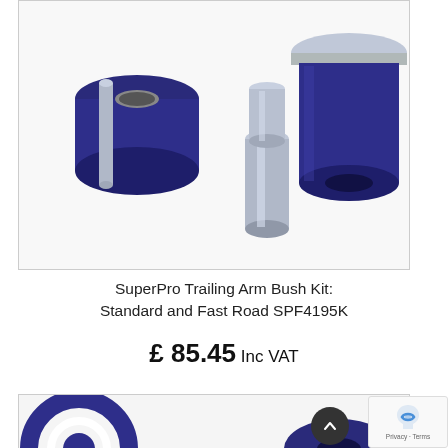[Figure (photo): Product photo of SuperPro trailing arm bush kit components: two dark blue polyurethane bushings and two steel/chrome cylindrical spacers on a white background]
SuperPro Trailing Arm Bush Kit: Standard and Fast Road SPF4195K
£ 85.45 Inc VAT
[Figure (photo): Partial product photo showing blue polyurethane bush components, partially cropped at bottom of page]